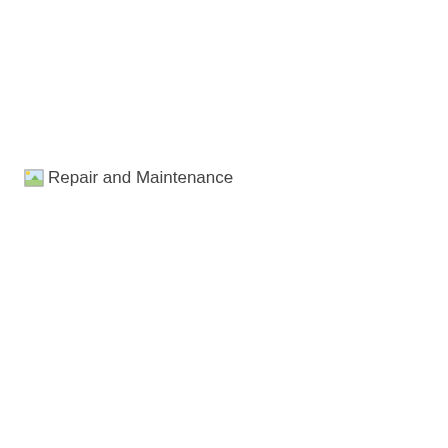[Figure (illustration): A broken/missing image icon (small landscape thumbnail placeholder) followed by the text 'Repair and Maintenance']